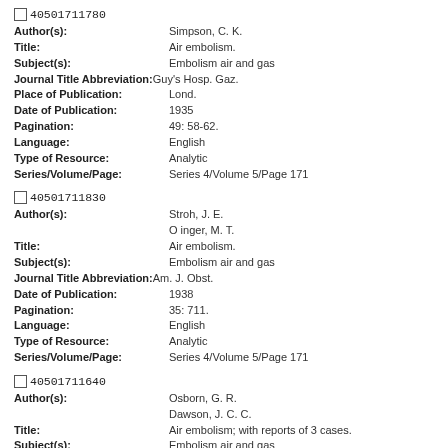40501711780
Author(s): Simpson, C. K.
Title: Air embolism.
Subject(s): Embolism air and gas
Journal Title Abbreviation: Guy's Hosp. Gaz.
Place of Publication: Lond.
Date of Publication: 1935
Pagination: 49: 58-62.
Language: English
Type of Resource: Analytic
Series/Volume/Page: Series 4/Volume 5/Page 171
40501711830
Author(s): Stroh, J. E. / O inger, M. T.
Title: Air embolism.
Subject(s): Embolism air and gas
Journal Title Abbreviation: Am. J. Obst.
Date of Publication: 1938
Pagination: 35: 711.
Language: English
Type of Resource: Analytic
Series/Volume/Page: Series 4/Volume 5/Page 171
40501711640
Author(s): Osborn, G. R. / Dawson, J. C. C.
Title: Air embolism; with reports of 3 cases.
Subject(s): Embolism air and gas
Journal Title Abbreviation: Lancet